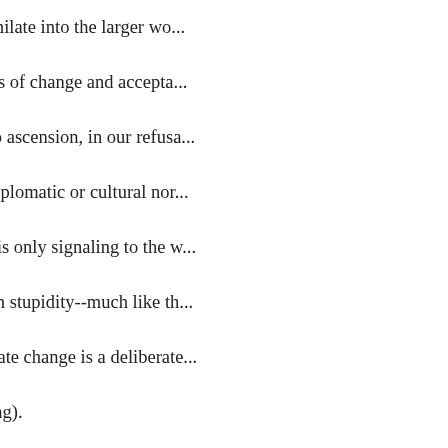having to assimilate into the larger wo... accept the ideas of change and accepta... since the trump ascension, in our refusa... international diplomatic or cultural nor... this arrogance is only signaling to the w... majoritarianism stupidity--much like th... warming (climate change is a deliberate... always changing).
We are no better or worse than any othe... shooting off our collective mouth to ma... world, we'll only wind up shooting our...
Posted...
Bradley Dranka wrote: "I also believe t... exceptionalism by the majority whites ... "their" culture should be "excepted" fro... world's culture."
Could you elaborate a little so I unders...